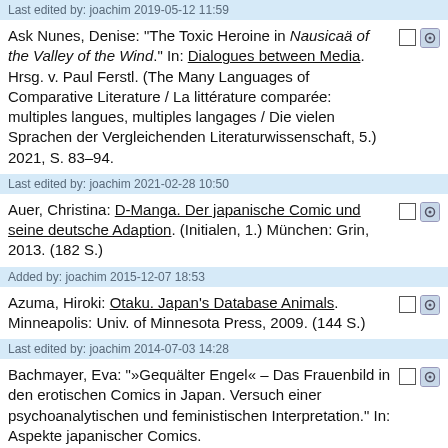Last edited by: joachim 2019-05-12 11:59
Ask Nunes, Denise: "The Toxic Heroine in Nausicaä of the Valley of the Wind." In: Dialogues between Media. Hrsg. v. Paul Ferstl. (The Many Languages of Comparative Literature / La littérature comparée: multiples langues, multiples langages / Die vielen Sprachen der Vergleichenden Literaturwissenschaft, 5.) 2021, S. 83–94.
Last edited by: joachim 2021-02-28 10:50
Auer, Christina: D-Manga. Der japanische Comic und seine deutsche Adaption. (Initialen, 1.) München: Grin, 2013. (182 S.)
Added by: joachim 2015-12-07 18:53
Azuma, Hiroki: Otaku. Japan's Database Animals. Minneapolis: Univ. of Minnesota Press, 2009. (144 S.)
Last edited by: joachim 2014-07-03 14:28
Bachmayer, Eva: "»Gequälter Engel« – Das Frauenbild in den erotischen Comics in Japan. Versuch einer psychoanalytischen und feministischen Interpretation." In: Aspekte japanischer Comics.